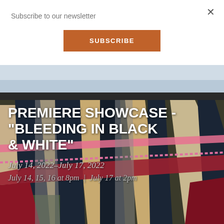Subscribe to our newsletter
SUBSCRIBE
[Figure (illustration): Abstract colorful painting showing overlapping diagonal bands and strips in multiple colors including red, pink, beige, dark blue/black, green, forming a quilt-like or crosshatch pattern. Upper portion shows a landscape with sky.]
PREMIERE SHOWCASE - "BLEEDING IN BLACK & WHITE"
July 14, 2022–July 17, 2022
July 14, 15, 16 at 8pm | July 17 at 2pm